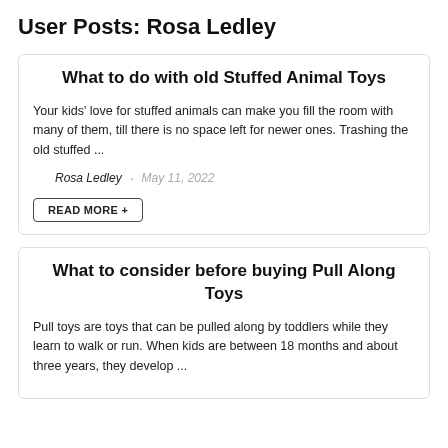User Posts: Rosa Ledley
What to do with old Stuffed Animal Toys
Your kids' love for stuffed animals can make you fill the room with many of them, till there is no space left for newer ones. Trashing the old stuffed ...
Rosa Ledley · May 11, 2022
READ MORE +
What to consider before buying Pull Along Toys
Pull toys are toys that can be pulled along by toddlers while they learn to walk or run. When kids are between 18 months and about three years, they develop ...